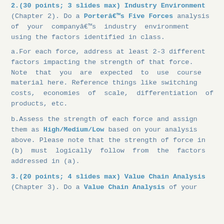2.(30 points; 3 slides max) Industry Environment (Chapter 2). Do a Porterâ€™s Five Forces analysis of your companyâ€™s industry environment using the factors identified in class.
a.For each force, address at least 2-3 different factors impacting the strength of that force. Note that you are expected to use course material here. Reference things like switching costs, economies of scale, differentiation of products, etc.
b.Assess the strength of each force and assign them as High/Medium/Low based on your analysis above. Please note that the strength of force in (b) must logically follow from the factors addressed in (a).
3.(20 points; 4 slides max) Value Chain Analysis (Chapter 3). Do a Value Chain Analysis of your